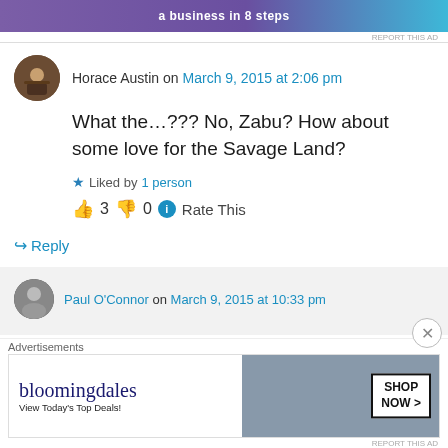[Figure (other): Purple advertisement banner with text 'a business in 8 steps' and teal accent]
REPORT THIS AD
Horace Austin on March 9, 2015 at 2:06 pm
What the…??? No, Zabu? How about some love for the Savage Land?
Liked by 1 person
👍 3 👎 0 ℹ Rate This
↪ Reply
Paul O'Connor on March 9, 2015 at 10:33 pm
Advertisements
[Figure (other): Bloomingdale's advertisement: 'View Today's Top Deals! SHOP NOW >']